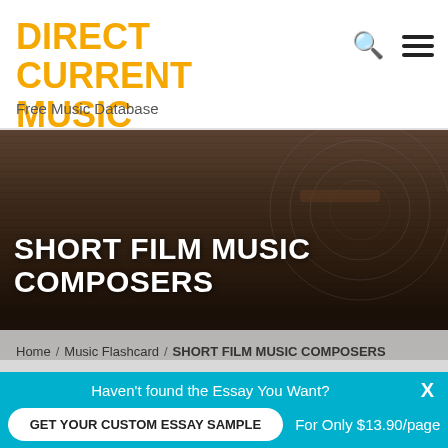DIRECT CURRENT MUSIC
Free Music Database
[Figure (screenshot): Hero image showing a vinyl record turntable in dark brown tones with dramatic lighting]
SHORT FILM MUSIC COMPOSERS
Home / Music Flashcard / SHORT FILM MUSIC COMPOSERS
Haven't found the Essay You Want?
GET YOUR CUSTOM ESSAY SAMPLE
For Only $13.90/page